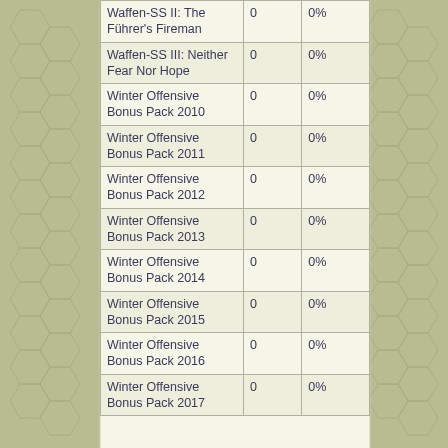| Waffen-SS II: The Führer's Fireman | 0 | 0% |
| Waffen-SS III: Neither Fear Nor Hope | 0 | 0% |
| Winter Offensive Bonus Pack 2010 | 0 | 0% |
| Winter Offensive Bonus Pack 2011 | 0 | 0% |
| Winter Offensive Bonus Pack 2012 | 0 | 0% |
| Winter Offensive Bonus Pack 2013 | 0 | 0% |
| Winter Offensive Bonus Pack 2014 | 0 | 0% |
| Winter Offensive Bonus Pack 2015 | 0 | 0% |
| Winter Offensive Bonus Pack 2016 | 0 | 0% |
| Winter Offensive Bonus Pack 2017 | 0 | 0% |